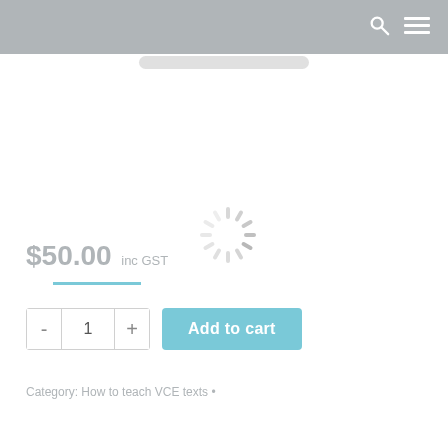[Figure (screenshot): Loading spinner (circular throbber) in light gray]
$50.00 inc GST
Add to cart
Category: How to teach VCE texts •